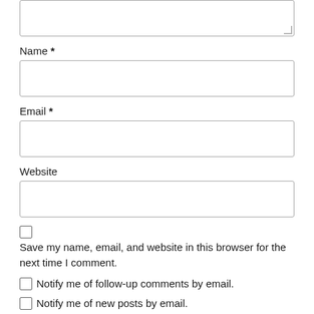[Figure (screenshot): Top portion of a comment form textarea (partially visible at top of page)]
Name *
[Figure (screenshot): Text input field for Name]
Email *
[Figure (screenshot): Text input field for Email]
Website
[Figure (screenshot): Text input field for Website]
Save my name, email, and website in this browser for the next time I comment.
Notify me of follow-up comments by email.
Notify me of new posts by email.